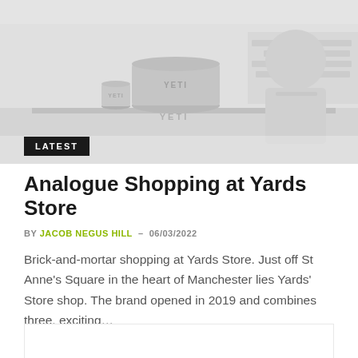[Figure (photo): Faded/desaturated photo of YETI branded products on a table with a person sitting in the background, in a store setting]
Analogue Shopping at Yards Store
BY JACOB NEGUS HILL - 06/03/2022
Brick-and-mortar shopping at Yards Store. Just off St Anne's Square in the heart of Manchester lies Yards' Store shop. The brand opened in 2019 and combines three, exciting...